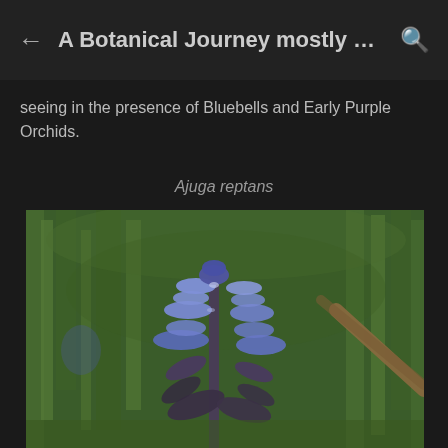A Botanical Journey mostly …
seeing in the presence of Bluebells and Early Purple Orchids.
Ajuga reptans
[Figure (photo): Close-up photograph of Ajuga reptans (bugle) plant showing blue-purple flower spike against blurred green grass background]